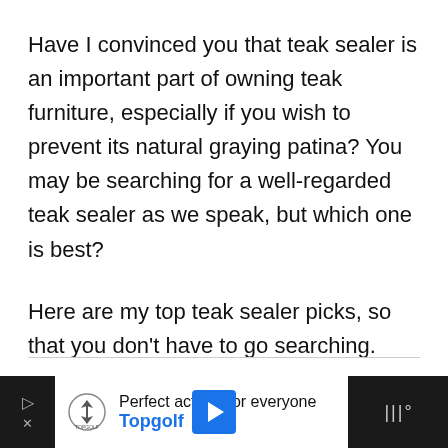Have I convinced you that teak sealer is an important part of owning teak furniture, especially if you wish to prevent its natural graying patina? You may be searching for a well-regarded teak sealer as we speak, but which one is best?
Here are my top teak sealer picks, so that you don't have to go searching.
[Figure (other): Advertisement banner for Topgolf at the bottom of the page with text 'Perfect activity for everyone' and 'Topgolf' brand name in blue, navigation arrow icon, and dark side panels with play/close buttons.]